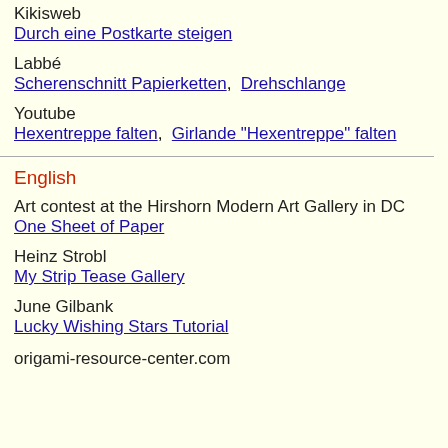Kikisweb
Durch eine Postkarte steigen
Labbé
Scherenschnitt Papierketten, Drehschlange
Youtube
Hexentreppe falten, Girlande "Hexentreppe" falten
English
Art contest at the Hirshorn Modern Art Gallery in DC
One Sheet of Paper
Heinz Strobl
My Strip Tease Gallery
June Gilbank
Lucky Wishing Stars Tutorial
origami-resource-center.com